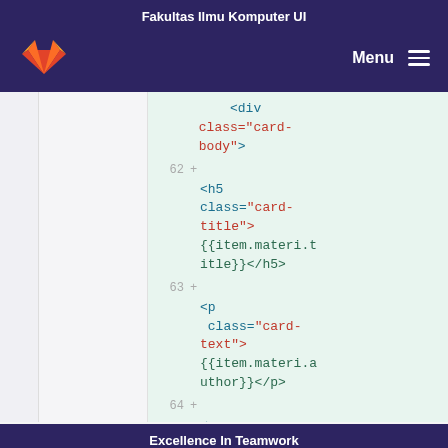Fakultas Ilmu Komputer UI
[Figure (screenshot): GitLab navbar with fox logo and Menu button on dark purple background]
[Figure (screenshot): Code diff view showing HTML template code with line numbers 62, 63, 64 and green highlighted background. Code shows <div class='card-body'>, <h5 class='card-title'>{{item.materi.title}}</h5>, <p class='card-text'>{{item.materi.author}}</p>, and <p]
Excellence In Teamwork